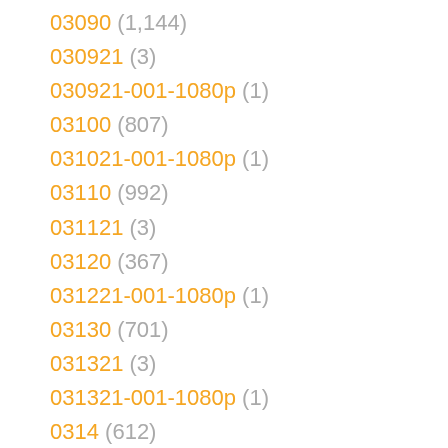03090 (1,144)
030921 (3)
030921-001-1080p (1)
03100 (807)
031021-001-1080p (1)
03110 (992)
031121 (3)
03120 (367)
031221-001-1080p (1)
03130 (701)
031321 (3)
031321-001-1080p (1)
0314 (612)
03140 (284)
031421 (1)